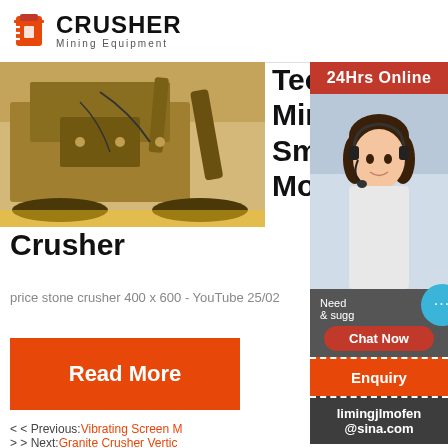CRUSHER Mining Equipment
[Figure (photo): Large mining jaw crusher machine, heavy equipment in yellowish-brown tones]
Technical Mining Small Mobile Jaw Crusher
price stone crusher 400 x 600 - YouTube 25/02
Read More
[Figure (photo): 24Hrs Online sidebar with female customer service representative wearing headset, and chat/enquiry widgets]
<< Previous:Vibrating Screen M
>> Next:Granite Crusher Vertic